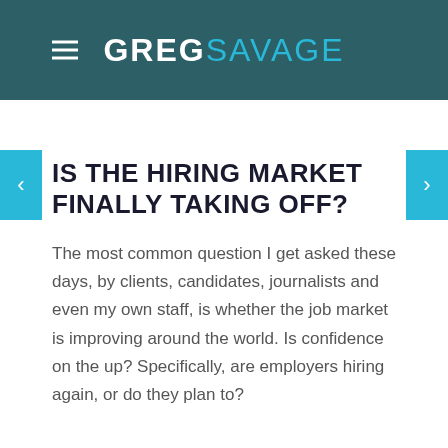GREG SAVAGE
IS THE HIRING MARKET FINALLY TAKING OFF?
The most common question I get asked these days, by clients, candidates, journalists and even my own staff, is whether the job market is improving around the world. Is confidence on the up? Specifically, are employers hiring again, or do they plan to?